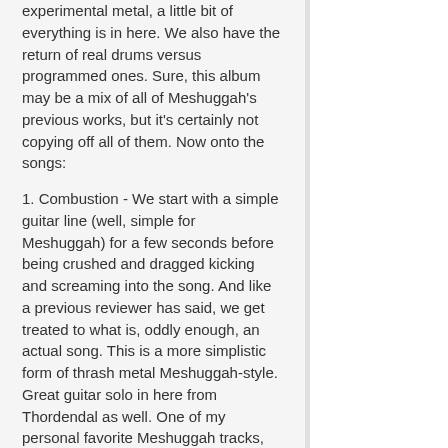experimental metal, a little bit of everything is in here. We also have the return of real drums versus programmed ones. Sure, this album may be a mix of all of Meshuggah's previous works, but it's certainly not copying off all of them. Now onto the songs:
1. Combustion - We start with a simple guitar line (well, simple for Meshuggah) for a few seconds before being crushed and dragged kicking and screaming into the song. And like a previous reviewer has said, we get treated to what is, oddly enough, an actual song. This is a more simplistic form of thrash metal Meshuggah-style. Great guitar solo in here from Thordendal as well. One of my personal favorite Meshuggah tracks, and one of the reasons I even bothered to keep with Meshuggah, despite my initial reaction. 10+/10
2. Electric Red - We return to some groove metal in this song. And later on in it we get...different types of groove